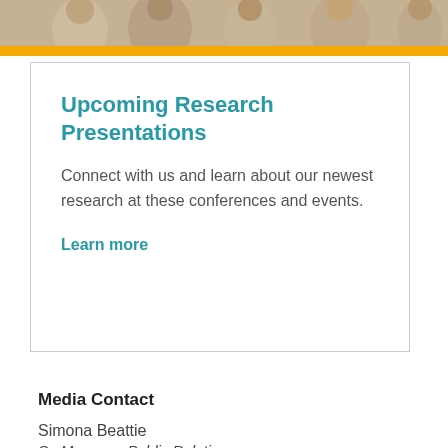[Figure (photo): Group of people at a conference or event, partially visible at the top of the page behind a yellow bar]
Upcoming Research Presentations
Connect with us and learn about our newest research at these conferences and events.
Learn more
Media Contact
Simona Beattie
Sr. Manager, Public Relations
971.361.9526
Email